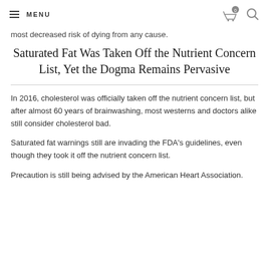MENU
most decreased risk of dying from any cause.
Saturated Fat Was Taken Off the Nutrient Concern List, Yet the Dogma Remains Pervasive
In 2016, cholesterol was officially taken off the nutrient concern list, but after almost 60 years of brainwashing, most westerns and doctors alike still consider cholesterol bad.
Saturated fat warnings still are invading the FDA's guidelines, even though they took it off the nutrient concern list.
Precaution is still being advised by the American Heart Association.